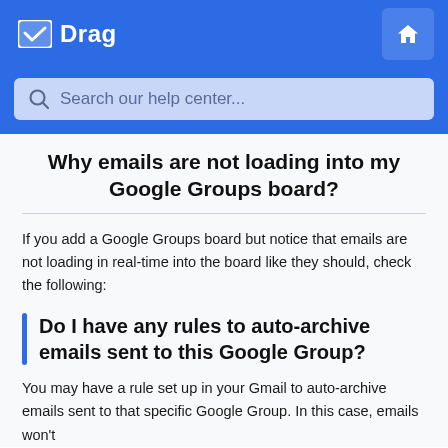Drag
[Figure (screenshot): Search bar with placeholder text 'Search our help center...']
Why emails are not loading into my Google Groups board?
If you add a Google Groups board but notice that emails are not loading in real-time into the board like they should, check the following:
Do I have any rules to auto-archive emails sent to this Google Group?
You may have a rule set up in your Gmail to auto-archive emails sent to that specific Google Group. In this case, emails won't